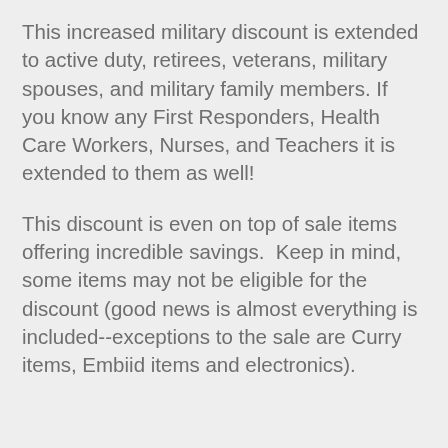This increased military discount is extended to active duty, retirees, veterans, military spouses, and military family members. If you know any First Responders, Health Care Workers, Nurses, and Teachers it is extended to them as well!
This discount is even on top of sale items offering incredible savings.  Keep in mind, some items may not be eligible for the discount (good news is almost everything is included--exceptions to the sale are Curry items, Embiid items and electronics).